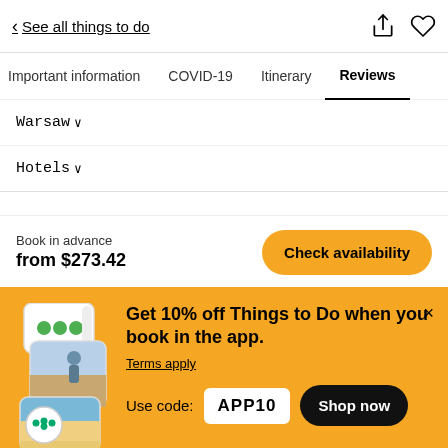< See all things to do
Important information  COVID-19  Itinerary  Reviews
Warsaw ∨
Hotels ∨
Book in advance
from $273.42
Check availability
Get 10% off Things to Do when you book in the app.
Terms apply
Use code: APP10
Shop now